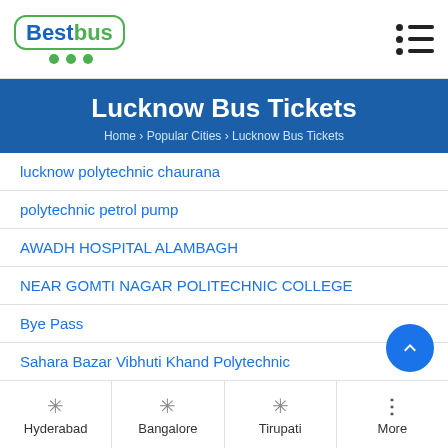[Figure (logo): BestBus logo with green border and wheels]
Lucknow Bus Tickets
Home > Popular Cities > Lucknow Bus Tickets
lucknow polytechnic chaurana
polytechnic petrol pump
AWADH HOSPITAL ALAMBAGH
NEAR GOMTI NAGAR POLITECHNIC COLLEGE
Bye Pass
Sahara Bazar Vibhuti Khand Polytechnic
Shahid Path
BANGLA BAZAR PUL
Hyderabad  Bangalore  Tirupati  More